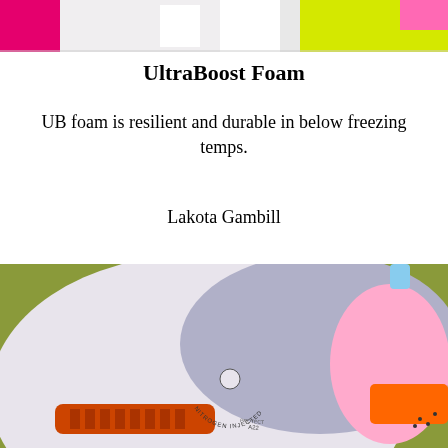[Figure (photo): Close-up photo of colorful running shoes, top portion showing pink and neon green colors]
UltraBoost Foam
UB foam is resilient and durable in below freezing temps.
Lakota Gambill
[Figure (photo): Close-up macro photo of an Adidas UltraBoost shoe sole showing nitrogen-injected foam technology on an olive green background, with orange and pink accents]